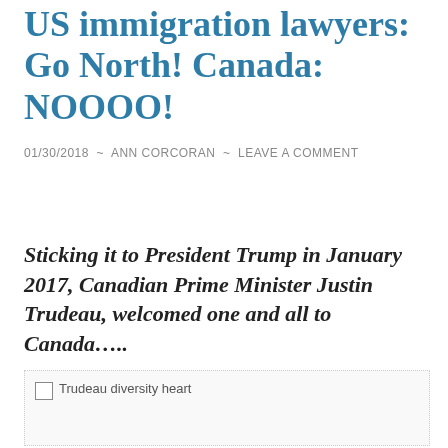US immigration lawyers: Go North! Canada: NOOOO!
01/30/2018  ~  ANN CORCORAN  ~  LEAVE A COMMENT
Sticking it to President Trump in January 2017, Canadian Prime Minister Justin Trudeau, welcomed one and all to Canada…..
[Figure (photo): Broken image placeholder labeled 'Trudeau diversity heart']